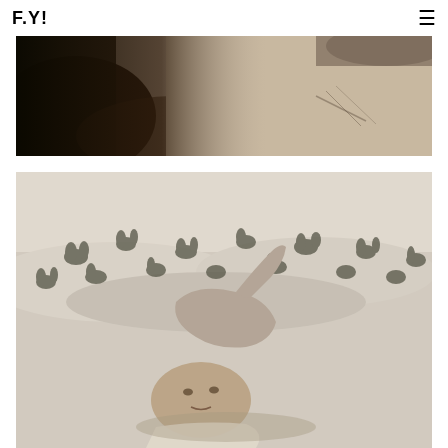F.Y! [logo] [hamburger menu]
[Figure (photo): Black and white close-up photo of a person's torso/back resting on sand or stone surface, with dark shadow on left side and light sandy/rocky texture on the right.]
[Figure (photo): Black and white photograph of a young man lying on sandy ground with small desert shrubs/succulents visible in the background. He has his arm raised over his head and is looking at the camera.]